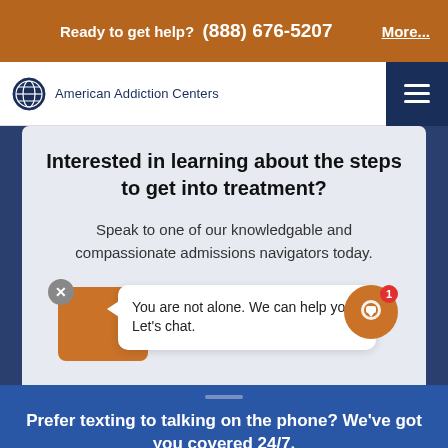Ready to get help? (888) 676-5207    More...
[Figure (logo): American Addiction Centers logo with globe icon and text]
Interested in learning about the steps to get into treatment?
Speak to one of our knowledgable and compassionate admissions navigators today.
You are not alone. We can help you. Let's chat.
Prefer texting to talking on the phone? We've got you covered 24/7.